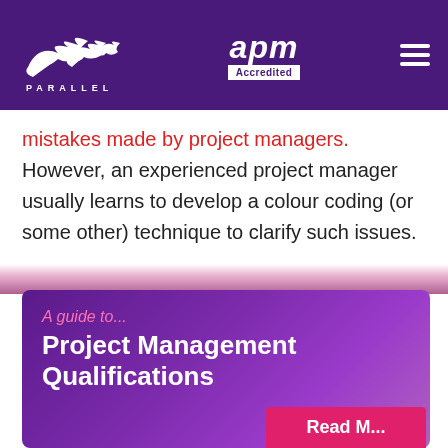[Figure (logo): Parallel PM logo with flying birds silhouette in white on purple background, APM Accredited badge, and hamburger menu icon]
mistakes made by project managers. However, an experienced project manager usually learns to develop a colour coding (or some other) technique to clarify such issues.
[Figure (illustration): Purple gradient promotional card reading 'A guide to... Project Management Qualifications' with a pink 'Read More' button at the bottom right]